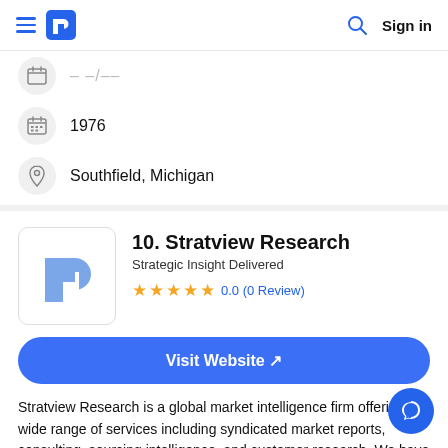≡ [logo] [search] Sign in
1976
Southfield, Michigan
10. Stratview Research
Strategic Insight Delivered
0.0 (0 Review)
Visit Website ↗
Stratview Research is a global market intelligence firm offering a wide range of services including syndicated market reports, consulting, sourcing intelligence, and customer research. We have